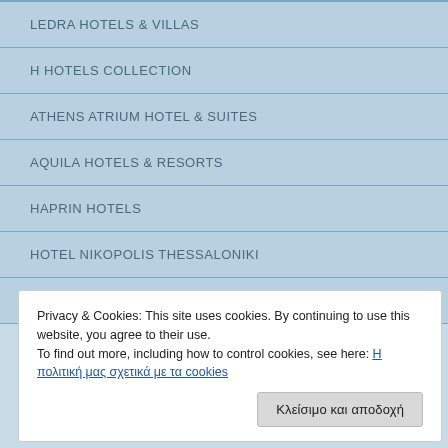LEDRA HOTELS & VILLAS
H HOTELS COLLECTION
ATHENS ATRIUM HOTEL & SUITES
AQUILA HOTELS & RESORTS
HAPRIN HOTELS
HOTEL NIKOPOLIS THESSALONIKI
HOTEL GRANDE BRETAGNE
Privacy & Cookies: This site uses cookies. By continuing to use this website, you agree to their use.
To find out more, including how to control cookies, see here: Η πολιτική μας σχετικά με τα cookies
Κλείσιμο και αποδοχή